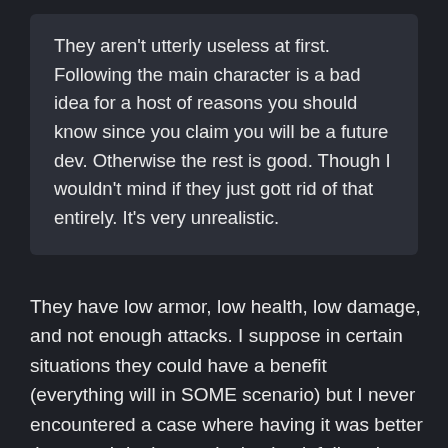They aren't utterly useless at first. Following the main character is a bad idea for a host of reasons you should know since you claim you will be a future dev. Otherwise the rest is good. Though I wouldn't mind if they just gott rid of that entirely. It's very unrealistic.
They have low armor, low health, low damage, and not enough attacks. I suppose in certain situations they could have a benefit (everything will in SOME scenario) but I never encountered a case where having it was better than not. I don't see why having it follow the main character around is a programming problem at all. Regular allies follow just fine, whats a few extra droids?